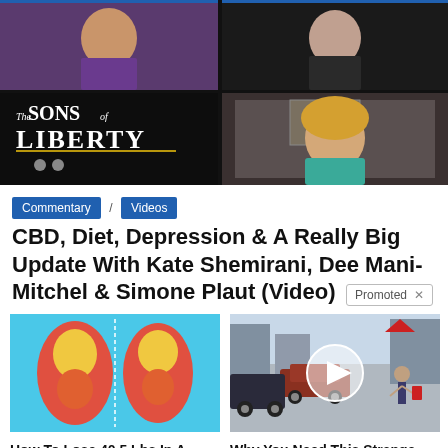[Figure (screenshot): Video thumbnail showing The Sons of Liberty show with multiple participants in video call grid layout. Top left shows older woman in purple, top right shows woman in dark clothing, bottom center shows blonde woman in teal. Sons of Liberty logo visible bottom left.]
Commentary / Videos
CBD, Diet, Depression & A Really Big Update With Kate Shemirani, Dee Mani-Mitchel & Simone Plaut (Video)
[Figure (photo): Medical illustration showing fat deposits on legs/thighs, comparison image on blue background]
How To Lose 40.5 Lbs In A Month (Eat This Once Every Day)
43,338
[Figure (photo): Street scene with cars parked, people walking, play button overlay indicating video content]
Why You Need This Strange Device When The Grid Goes Down
6,699